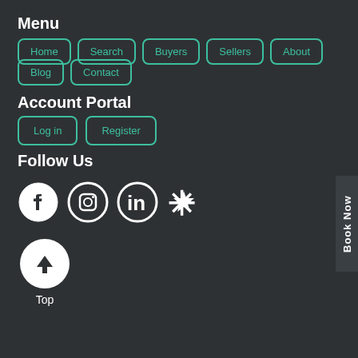Menu
Home
Search
Buyers
Sellers
About
Blog
Contact
Account Portal
Log in
Register
Follow Us
[Figure (infographic): Social media icons: Facebook, Instagram, LinkedIn, Yelp]
[Figure (infographic): Back to top button: circle with up arrow and label Top]
Book Now